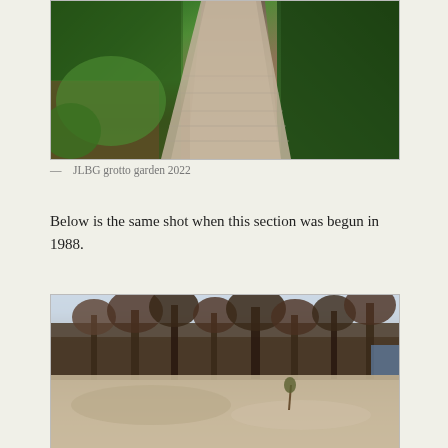[Figure (photo): Garden path made of brick pavers winding through lush green plants and foliage, surrounded by green vegetation and mulched beds]
— JLBG grotto garden 2022
Below is the same shot when this section was begun in 1988.
[Figure (photo): Bare ground landscape showing sandy/clay soil with sparse young trees in the background against a winter sky, taken in 1988 before garden was established]